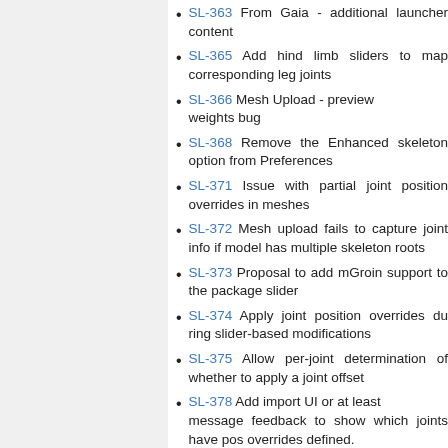SL-363 From Gaia - additional launcher content
SL-365 Add hind limb sliders to map corresponding leg joints
SL-366 Mesh Upload - preview weights bug
SL-368 Remove the Enhanced skeleton option from Preferences
SL-371 Issue with partial joint position overrides in meshes
SL-372 Mesh upload fails to capture joint info if model has multiple skeleton roots
SL-373 Proposal to add mGroin support to the package slider
SL-374 Apply joint position overrides during slider-based modifications
SL-375 Allow per-joint determination of whether to apply a joint offset
SL-378 Add import UI or at least message feedback to show which joints have pos overrides defined.